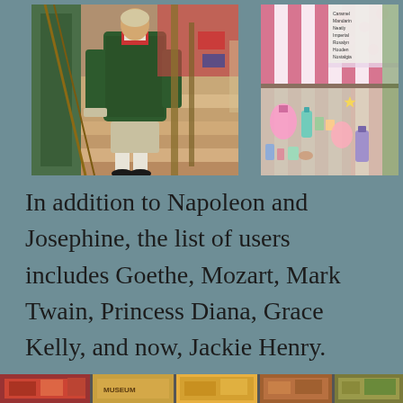[Figure (photo): A mannequin or figure wearing an 18th-century green embroidered coat with knee breeches and stockings, displayed in a museum or shop setting]
[Figure (photo): A shop display counter with various small perfume bottles, gift bags, and decorative items with pink and white striped walls and floral wallpaper visible]
In addition to Napoleon and Josephine, the list of users includes Goethe, Mozart, Mark Twain, Princess Diana, Grace Kelly, and now, Jackie Henry.
[Figure (photo): A partial strip of photos at the bottom showing market or shop stalls with colorful items]